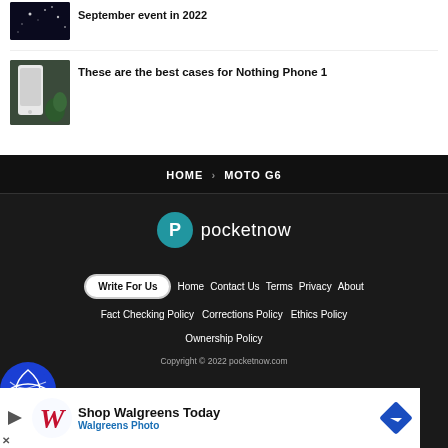[Figure (photo): Article thumbnail showing dark night sky with stars]
September event in 2022
[Figure (photo): Article thumbnail showing Nothing Phone 1 with white back panel and green plants in background]
These are the best cases for Nothing Phone 1
HOME > MOTO G6
[Figure (logo): Pocketnow logo - circular teal P icon with pocketnow text]
Write For Us  Home  Contact Us  Terms  Privacy  About  Fact Checking Policy  Corrections Policy  Ethics Policy  Ownership Policy
Copyright © 2022 pocketnow.com
[Figure (other): Walgreens advertisement - Shop Walgreens Today, Walgreens Photo]